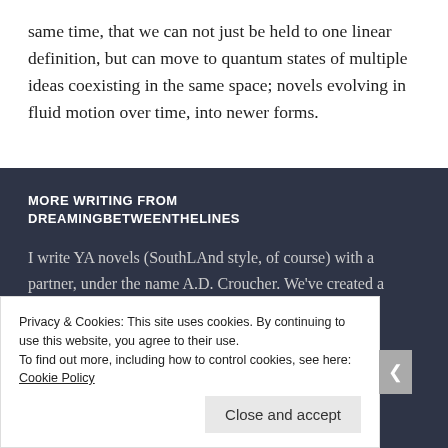same time, that we can not just be held to one linear definition, but can move to quantum states of multiple ideas coexisting in the same space; novels evolving in fluid motion over time, into newer forms.
MORE WRITING FROM DREAMINGBETWEENTHELINES
I write YA novels (SouthLAnd style, of course) with a partner, under the name A.D. Croucher. We've created a grounded, gritty sci-fi series called Altered Sequence
Privacy & Cookies: This site uses cookies. By continuing to use this website, you agree to their use.
To find out more, including how to control cookies, see here: Cookie Policy
Close and accept